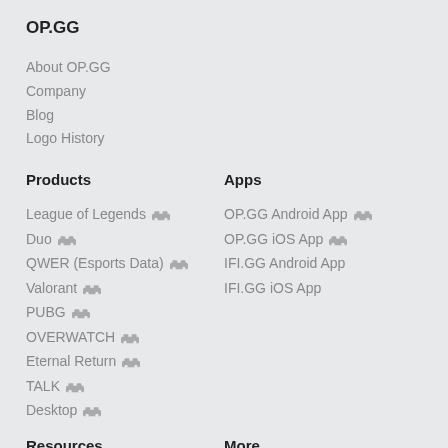OP.GG
About OP.GG
Company
Blog
Logo History
Products
Apps
League of Legends
OP.GG Android App
Duo
OP.GG iOS App
QWER (Esports Data)
IFI.GG Android App
Valorant
IFI.GG iOS App
PUBG
OVERWATCH
Eternal Return
TALK
Desktop
Resources
More